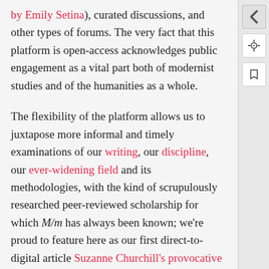by Emily Setina), curated discussions, and other types of forums. The very fact that this platform is open-access acknowledges public engagement as a vital part both of modernist studies and of the humanities as a whole.
The flexibility of the platform allows us to juxtapose more informal and timely examinations of our writing, our discipline, our ever-widening field and its methodologies, with the kind of scrupulously researched peer-reviewed scholarship for which M/m has always been known; we're proud to feature here as our first direct-to-digital article Suzanne Churchill's provocative work on the modernist journal Contempo.
As someone whose own research focuses on the interplay between “old” and “new” media, I’m excited about...